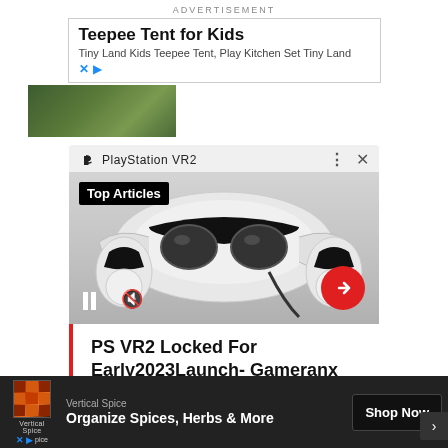ADVERTISEMENT
[Figure (screenshot): Advertisement box for Teepee Tent for Kids - Tiny Land Kids Teepee Tent, Play Kitchen Set Tiny Land, with X and play controls]
[Figure (photo): Game/outdoor themed image with dark green foliage background]
[Figure (screenshot): PlayStation VR2 video card with Top Articles badge, pause and mute controls, red arrow button, PS VR2 headset image, and headline: PS VR2 Locked For Early2023Launch- Gameranx]
PS VR2 Locked For Early2023Launch- Gameranx
[Figure (screenshot): Advertisement bar for Vertical Spice - Organize Spices, Herbs & More with Shop Now button]